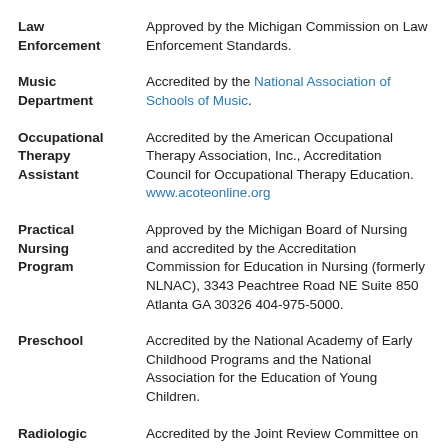Law Enforcement | Approved by the Michigan Commission on Law Enforcement Standards.
Music Department | Accredited by the National Association of Schools of Music.
Occupational Therapy Assistant | Accredited by the American Occupational Therapy Association, Inc., Accreditation Council for Occupational Therapy Education. www.acoteonline.org
Practical Nursing Program | Approved by the Michigan Board of Nursing and accredited by the Accreditation Commission for Education in Nursing (formerly NLNAC), 3343 Peachtree Road NE Suite 850 Atlanta GA 30326 404-975-5000.
Preschool | Accredited by the National Academy of Early Childhood Programs and the National Association for the Education of Young Children.
Radiologic | Accredited by the Joint Review Committee on